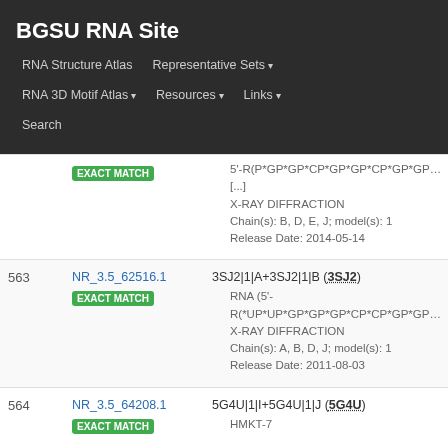BGSU RNA Site
RNA Structure Atlas | Representative Sets ▾ | RNA 3D Motif Atlas ▾ | Resources ▾ | Links ▾ | Search
| # | ID | Info |
| --- | --- | --- |
|  | NR_3.5_62516.1 EXACT MATCH | 3SJ2|1|A+3SJ2|1|B (3SJ2)
• RNA (5'-R(*UP*UP*GP*GP*GP*CP*CP*GP*GP*C...
• X-RAY DIFFRACTION
• Chain(s): A, B, D, J; model(s): 1
• Release Date: 2011-08-03 |
| 563 | NR_3.5_62516.1 EXACT MATCH | 3SJ2|1|A+3SJ2|1|B (3SJ2)
• RNA (5'-R(*UP*UP*GP*GP*GP*CP*CP*GP*GP*C...
• X-RAY DIFFRACTION
• Chain(s): A, B, D, J; model(s): 1
• Release Date: 2011-08-03 |
| 564 | NR_3.5_64208.1 EXACT MATCH | 5G4U|1|I+5G4U|1|J (5G4U)
• HMKT-7 |